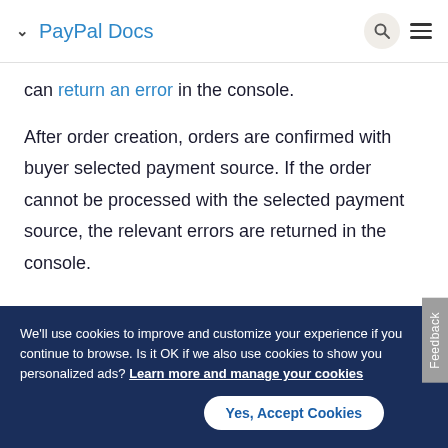PayPal Docs
can return an error in the console.
After order creation, orders are confirmed with buyer selected payment source. If the order cannot be processed with the selected payment source, the relevant errors are returned in the console.
We'll use cookies to improve and customize your experience if you continue to browse. Is it OK if we also use cookies to show you personalized ads? Learn more and manage your cookies